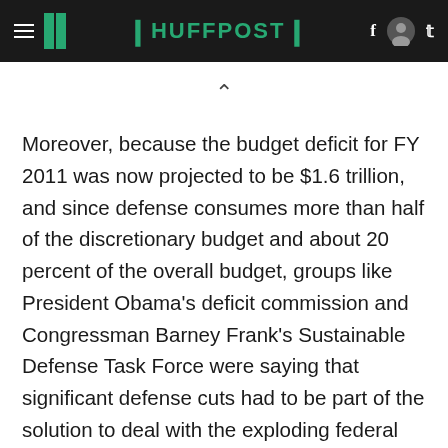HUFFPOST
Moreover, because the budget deficit for FY 2011 was now projected to be $1.6 trillion, and since defense consumes more than half of the discretionary budget and about 20 percent of the overall budget, groups like President Obama's deficit commission and Congressman Barney Frank's Sustainable Defense Task Force were saying that significant defense cuts had to be part of the solution to deal with the exploding federal deficit. Gates also called these efforts catastrophic and claimed they are exercises in math and had no strategic component.